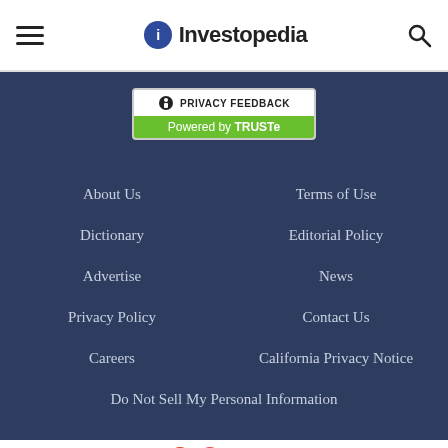Investopedia
[Figure (logo): Privacy Feedback badge powered by TRUSTe]
About Us
Terms of Use
Dictionary
Editorial Policy
Advertise
News
Privacy Policy
Contact Us
Careers
California Privacy Notice
Do Not Sell My Personal Information
Ad
[Figure (logo): Dotdash Meredith logo and ad banner: We help people find answers, solve problems and get inspired.]